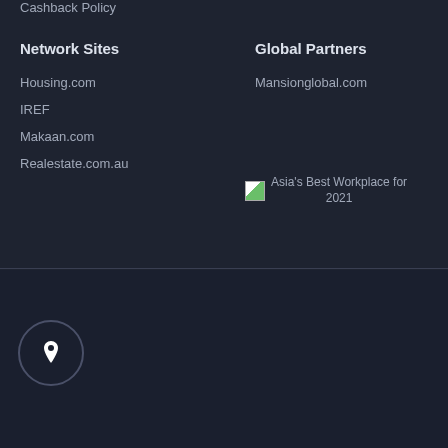Cashback Policy
Network Sites
Global Partners
Housing.com
IREF
Makaan.com
Realestate.com.au
Mansionglobal.com
[Figure (logo): Asia's Best Workplace for 2021 badge]
Visit us
Plot No. 25, Echelon Square, Sector - 32, Gurgaon - 122001
visit all
Contact us
India 1800-103-104-1
Toll Free
(9am
Follow Us
[Figure (logo): Facebook and Twitter social media icons]